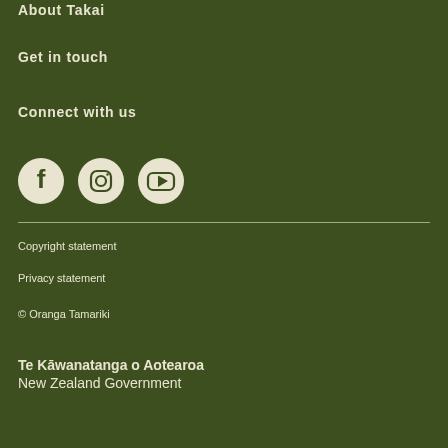About Takai
Get in touch
Connect with us
[Figure (illustration): Social media icons: Facebook, Instagram, YouTube circles]
Copyright statement
Privacy statement
© Oranga Tamariki
Te Kāwanatanga o Aotearoa
New Zealand Government